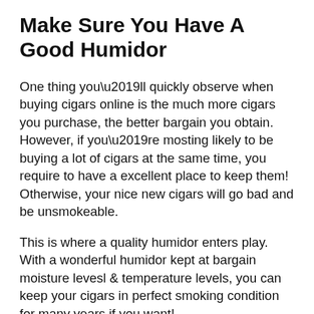Make Sure You Have A Good Humidor
One thing you’ll quickly observe when buying cigars online is the much more cigars you purchase, the better bargain you obtain. However, if you’re mosting likely to be buying a lot of cigars at the same time, you require to have a excellent place to keep them! Otherwise, your nice new cigars will go bad and be unsmokeable.
This is where a quality humidor enters play. With a wonderful humidor kept at bargain moisture levesl & temperature levels, you can keep your cigars in perfect smoking condition for many years if you want!